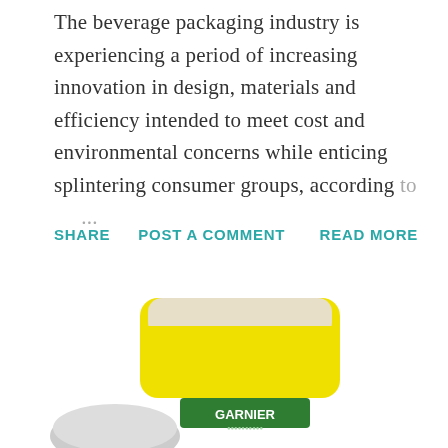The beverage packaging industry is experiencing a period of increasing innovation in design, materials and efficiency intended to meet cost and environmental concerns while enticing splintering consumer groups, according to ...
SHARE   POST A COMMENT   READ MORE
[Figure (photo): A yellow Garnier product bottle/container photographed from above at an angle, showing the top portion with a beige/cream-colored cap and yellow body with the Garnier logo visible at the bottom. The bottom of the image is cropped.]